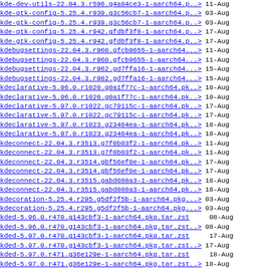kde-dev-utils-22.04.3.r596.g4a84ce3-1-aarch64.p..> 11-Aug
kde-gtk-config-5.25.4.r939.g3c56cb7-1-aarch64.p..> 03-Aug
kde-gtk-config-5.25.4.r939.g3c56cb7-1-aarch64.p..> 03-Aug
kde-gtk-config-5.25.4.r942.gfdbf3f8-1-aarch64.p..> 17-Aug
kde-gtk-config-5.25.4.r942.gfdbf3f8-1-aarch64.p..> 17-Aug
kdebugsettings-22.04.3.r960.gfcb9655-1-aarch64...> 11-Aug
kdebugsettings-22.04.3.r960.gfcb9655-1-aarch64...> 11-Aug
kdebugsettings-22.04.3.r962.gd7ffa16-1-aarch64...> 15-Aug
kdebugsettings-22.04.3.r962.gd7ffa16-1-aarch64...> 15-Aug
kdeclarative-5.96.0.r1020.g0a1f77c-1-aarch64.pk..> 10-Aug
kdeclarative-5.96.0.r1020.g0a1f77c-1-aarch64.pk..> 10-Aug
kdeclarative-5.97.0.r1022.gc79115c-1-aarch64.pk..> 17-Aug
kdeclarative-5.97.0.r1022.gc79115c-1-aarch64.pk..> 17-Aug
kdeclarative-5.97.0.r1023.g23464ea-1-aarch64.pk..> 18-Aug
kdeclarative-5.97.0.r1023.g23464ea-1-aarch64.pk..> 18-Aug
kdeconnect-22.04.3.r3513.g7f0b03f2-1-aarch64.pk..> 11-Aug
kdeconnect-22.04.3.r3513.g7f0b03f2-1-aarch64.pk..> 11-Aug
kdeconnect-22.04.3.r3514.gbf56ef0e-1-aarch64.pk..> 17-Aug
kdeconnect-22.04.3.r3514.gbf56ef0e-1-aarch64.pk..> 17-Aug
kdeconnect-22.04.3.r3515.gabd088a3-1-aarch64.pk..> 18-Aug
kdeconnect-22.04.3.r3515.gabd088a3-1-aarch64.pk..> 18-Aug
kdecoration-5.25.4.r295.g5df2f5b-1-aarch64.pkg...> 03-Aug
kdecoration-5.25.4.r295.g5df2f5b-1-aarch64.pkg...> 03-Aug
kded-5.96.0.r470.g143cbf3-1-aarch64.pkg.tar.zst 08-Aug
kded-5.96.0.r470.g143cbf3-1-aarch64.pkg.tar.zst..> 08-Aug
kded-5.97.0.r470.g143cbf3-1-aarch64.pkg.tar.zst 17-Aug
kded-5.97.0.r470.g143cbf3-1-aarch64.pkg.tar.zst..> 17-Aug
kded-5.97.0.r471.g36e129e-1-aarch64.pkg.tar.zst 18-Aug
kded-5.97.0.r471.g36e129e-1-aarch64.pkg.tar.zst..> 18-Aug
kdeodu.data.22.04.3.r17.g1b749b8-1-aarch64.pkg 09-Jul